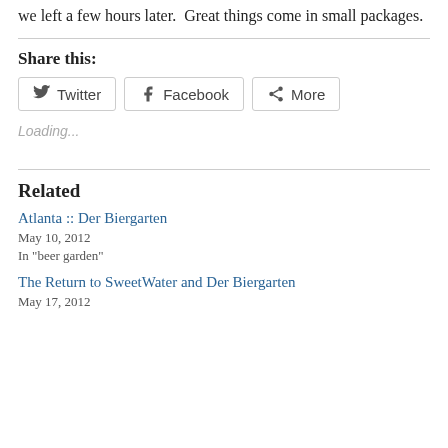we left a few hours later.  Great things come in small packages.
Share this:
[Figure (other): Share buttons for Twitter, Facebook, and More]
Loading...
Related
Atlanta :: Der Biergarten
May 10, 2012
In "beer garden"
The Return to SweetWater and Der Biergarten
May 17, 2012